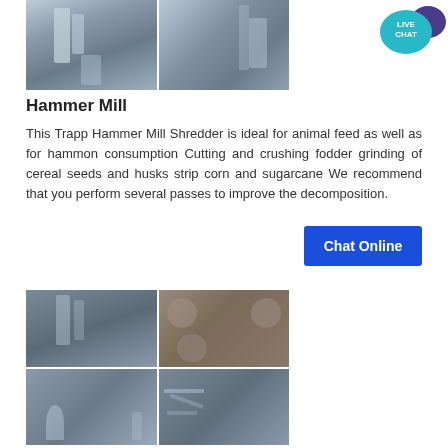[Figure (photo): Two industrial mill/grinder equipment photos side by side — left shows piping system, right shows vertical mill tower]
Hammer Mill
This Trapp Hammer Mill Shredder is ideal for animal feed as well as for hammon consumption Cutting and crushing fodder grinding of cereal seeds and husks strip corn and sugarcane We recommend that you perform several passes to improve the decomposition.
[Figure (illustration): Live Chat button with teal speech bubble and purple chat icon]
[Figure (other): Chat Online blue button]
[Figure (photo): Four industrial equipment photos in a grid — industrial plant interior, metal tank tops/flanges, cyclone/filter units, scaffolding/structural framework]